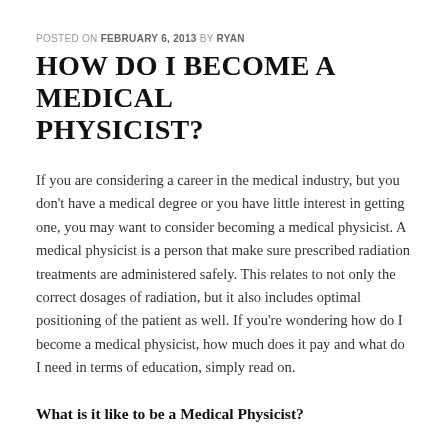POSTED ON FEBRUARY 6, 2013 BY RYAN
HOW DO I BECOME A MEDICAL PHYSICIST?
If you are considering a career in the medical industry, but you don't have a medical degree or you have little interest in getting one, you may want to consider becoming a medical physicist. A medical physicist is a person that make sure prescribed radiation treatments are administered safely. This relates to not only the correct dosages of radiation, but it also includes optimal positioning of the patient as well. If you're wondering how do I become a medical physicist, how much does it pay and what do I need in terms of education, simply read on.
What is it like to be a Medical Physicist?